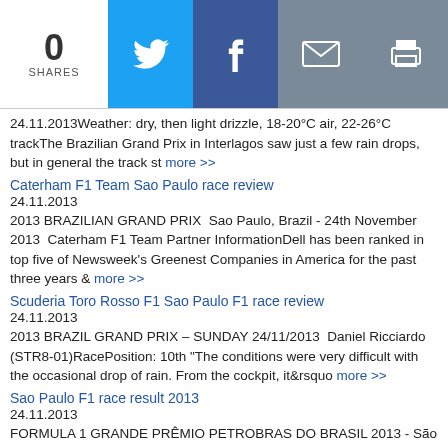0 SHARES | Twitter | Facebook | Email | Print
24.11.2013Weather: dry, then light drizzle, 18-20°C air, 22-26°C trackThe Brazilian Grand Prix in Interlagos saw just a few rain drops, but in general the track st more >>
Caterham F1 Team Sao Paulo race review
24.11.2013
2013 BRAZILIAN GRAND PRIX  Sao Paulo, Brazil - 24th November 2013  Caterham F1 Team Partner InformationDell has been ranked in top five of Newsweek's Greenest Companies in America for the past three years & more >>
Scuderia Toro Rosso F1 Sao Paulo F1 race review
24.11.2013
2013 BRAZIL GRAND PRIX – SUNDAY 24/11/2013  Daniel Ricciardo (STR8-01)RacePosition: 10th "The conditions were very difficult with the occasional drop of rain. From the cockpit, it&rsquo more >>
Sao Paulo F1 race result 2013
24.11.2013
FORMULA 1 GRANDE PRÊMIO PETROBRAS DO BRASIL 2013 - São Paulo1 1 S. VETTEL GER Infiniti Red Bull Racing 71 1:32:36.300 198.202 1:15.624 512 2 M. WEBBER AUS Infiniti Red Bull more >>
Strategy wide open for the final F1 race of the 2013 season
23.11.2013